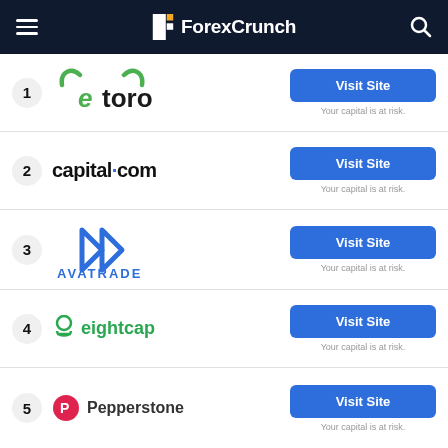ForexCrunch
1 eToro — Visit Site — Your capital is at risk.
2 capital.com — Visit Site — Your capital is at risk.
3 AvaTrade — Visit Site — Your capital is at risk.
4 Eightcap — Visit Site — Your capital is at risk.
5 Pepperstone — Visit Site — Your capital is at risk.